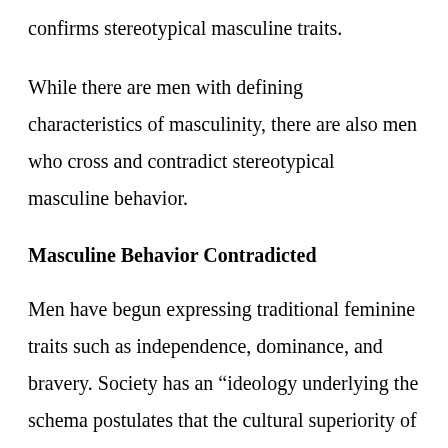confirms stereotypical masculine traits.
While there are men with defining characteristics of masculinity, there are also men who cross and contradict stereotypical masculine behavior.
Masculine Behavior Contradicted
Men have begun expressing traditional feminine traits such as independence, dominance, and bravery. Society has an “ideology underlying the schema postulates that the cultural superiority of males is a natural outgrowth of the innate predisposition of